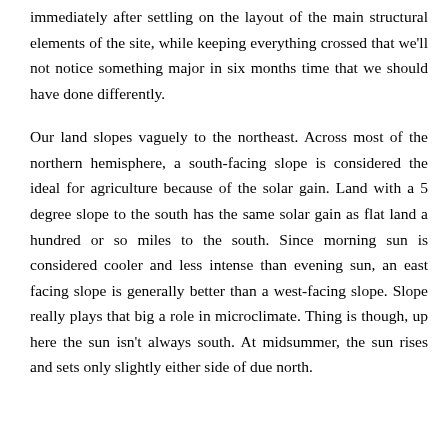immediately after settling on the layout of the main structural elements of the site, while keeping everything crossed that we'll not notice something major in six months time that we should have done differently.
Our land slopes vaguely to the northeast. Across most of the northern hemisphere, a south-facing slope is considered the ideal for agriculture because of the solar gain. Land with a 5 degree slope to the south has the same solar gain as flat land a hundred or so miles to the south. Since morning sun is considered cooler and less intense than evening sun, an east facing slope is generally better than a west-facing slope. Slope really plays that big a role in microclimate. Thing is though, up here the sun isn't always south. At midsummer, the sun rises and sets only slightly either side of due north.